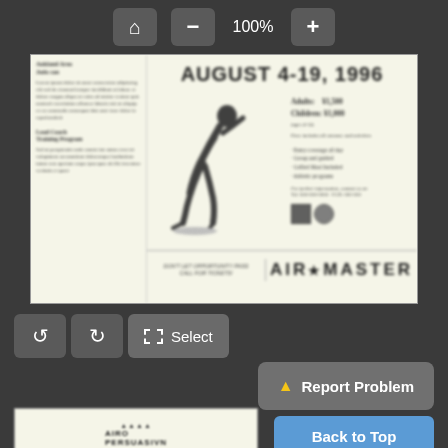[Figure (screenshot): Document viewer UI screenshot showing toolbar with home, zoom out, 100%, zoom in buttons at top; a blurred newspaper/flyer document preview for 'AUGUST 4-19, 1996' with athlete figure and AirMaster branding; bottom toolbar with rotate left, rotate right, Select, and Report Problem buttons; and a Back to Top button at bottom right.]